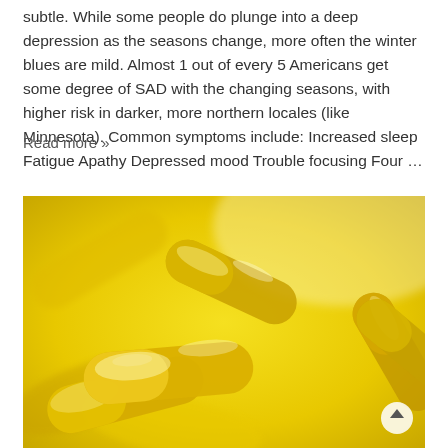subtle. While some people do plunge into a deep depression as the seasons change, more often the winter blues are mild. Almost 1 out of every 5 Americans get some degree of SAD with the changing seasons, with higher risk in darker, more northern locales (like Minnesota). Common symptoms include: Increased sleep Fatigue Apathy Depressed mood Trouble focusing Four …
Read more »
[Figure (photo): Close-up photograph of yellow/golden gel capsules (supplement pills) on a yellow background, with a circular scroll-up button in the lower right corner]